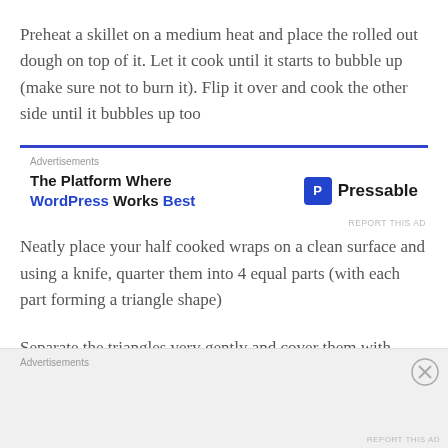Preheat a skillet on a medium heat and place the rolled out dough on top of it. Let it cook until it starts to bubble up (make sure not to burn it). Flip it over and cook the other side until it bubbles up too
[Figure (other): Advertisement banner for Pressable WordPress hosting: 'The Platform Where WordPress Works Best' with Pressable logo]
Neatly place your half cooked wraps on a clean surface and using a knife, quarter them into 4 equal parts (with each part forming a triangle shape)
Separate the triangles very gently and cover them with
[Figure (other): Advertisements bar at bottom of page with close button]